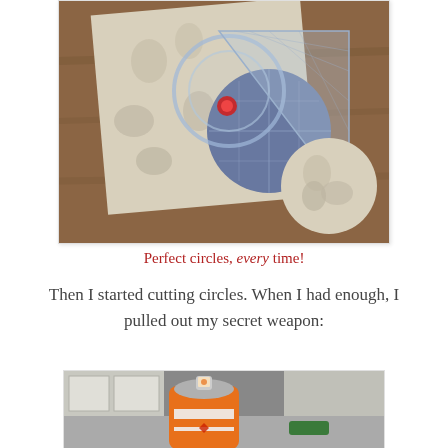[Figure (photo): Photo of fabric circles being cut using a circular rotary ruler on a cutting mat, with blue dotted and beige floral fabric pieces visible on a wooden table surface.]
Perfect circles, every time!
Then I started cutting circles. When I had enough, I pulled out my secret weapon:
[Figure (photo): Photo of an orange spray can (secret weapon) on a kitchen table, partially visible.]